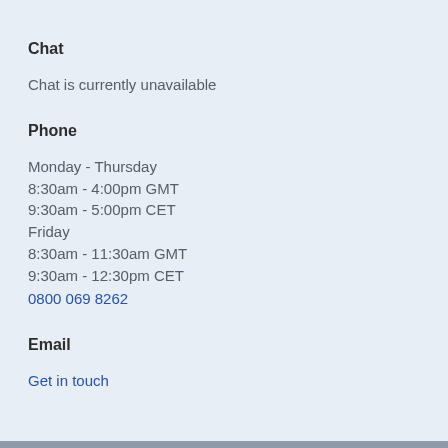Chat
Chat is currently unavailable
Phone
Monday - Thursday
8:30am - 4:00pm GMT
9:30am - 5:00pm CET
Friday
8:30am - 11:30am GMT
9:30am - 12:30pm CET
0800 069 8262
Email
Get in touch